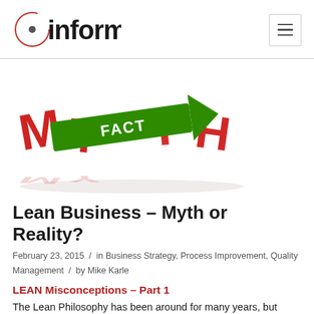inform
[Figure (illustration): 3D illustration showing red letters spelling MYTH being pierced by a green arrow sign labeled FACT]
Lean Business – Myth or Reality?
February 23, 2015 / in Business Strategy, Process Improvement, Quality Management / by Mike Karle
LEAN Misconceptions – Part 1
The Lean Philosophy has been around for many years, but